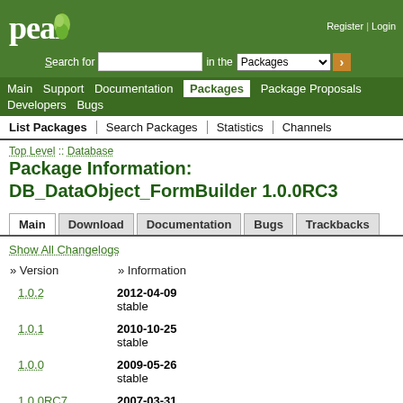Register | Login
[Figure (logo): PEAR logo with pear icon on green background]
Search for [input] in the Packages [dropdown] [go button]
Main | Support | Documentation | Packages | Package Proposals | Developers | Bugs
List Packages | Search Packages | Statistics | Channels
Top Level :: Database
Package Information: DB_DataObject_FormBuilder 1.0.0RC3
Main | Download | Documentation | Bugs | Trackbacks
Show All Changelogs
| » Version | » Information |
| --- | --- |
| 1.0.2 | 2012-04-09
stable |
| 1.0.1 | 2010-10-25
stable |
| 1.0.0 | 2009-05-26
stable |
| 1.0.0RC7 | 2007-03-31 |